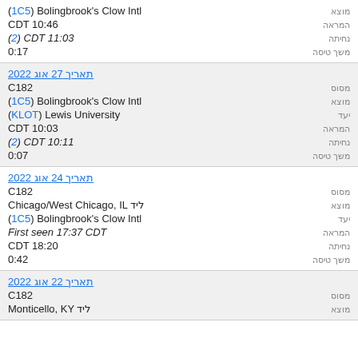(1C5) Bolingbrook's Clow Intl המראה CDT 10:46 נחיתה (?) CDT 11:03 משך טיסה 0:17
תאריך 27 אוג 2022 מסוס C182 מוצא (1C5) Bolingbrook's Clow Intl יעד (KLOT) Lewis University המראה CDT 10:03 נחיתה (?) CDT 10:11 משך טיסה 0:07
תאריך 24 אוג 2022 מסוס C182 מוצא ליד Chicago/West Chicago, IL יעד (1C5) Bolingbrook's Clow Intl המראה First seen 17:37 CDT נחיתה CDT 18:20 משך טיסה 0:42
תאריך 22 אוג 2022 מסוס C182 מוצא ליד Monticello, KY